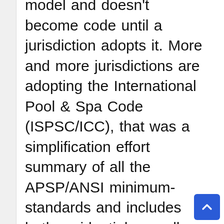model and doesn't become code until a jurisdiction adopts it. More and more jurisdictions are adopting the International Pool & Spa Code (ISPSC/ICC), that was a simplification effort summary of all the APSP/ANSI minimum-standards and includes both residential as well as public-pool construction along with operational standards. The ISPSC remains inadequate for class-A and some class-B